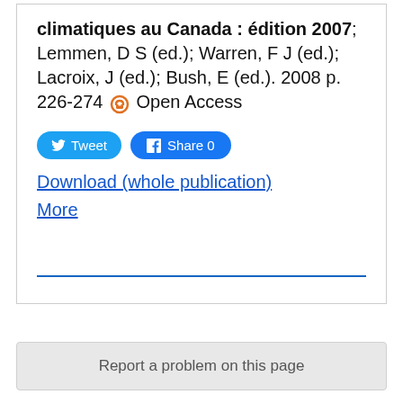climatiques au Canada : édition 2007; Lemmen, D S (ed.); Warren, F J (ed.); Lacroix, J (ed.); Bush, E (ed.). 2008 p. 226-274 [open access icon] Open Access
[Figure (other): Tweet button (blue rounded, Twitter bird icon) and Facebook Share 0 button (blue rounded, Facebook icon)]
Download (whole publication)
More
Report a problem on this page